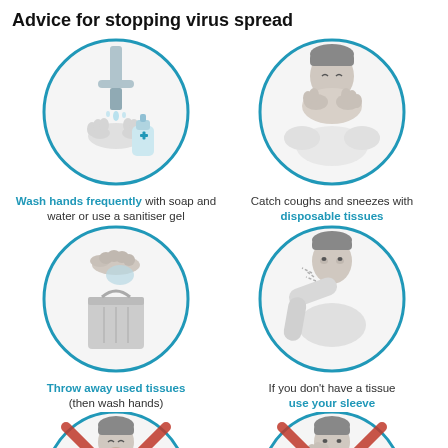Advice for stopping virus spread
[Figure (illustration): Circle icon: hands being washed under water tap with sanitiser gel bottle with a plus cross symbol]
[Figure (illustration): Circle icon: person covering nose and mouth with hands/tissue, catching a cough or sneeze]
Wash hands frequently with soap and water or use a sanitiser gel
Catch coughs and sneezes with disposable tissues
[Figure (illustration): Circle icon: hand dropping a used tissue into a bin]
[Figure (illustration): Circle icon: person sneezing into their sleeve/elbow]
Throw away used tissues (then wash hands)
If you don't have a tissue use your sleeve
[Figure (illustration): Circle icon with red cross: person sneezing without covering, indicating what not to do]
[Figure (illustration): Circle icon with red cross: person touching face or spreading germs, indicating what not to do]